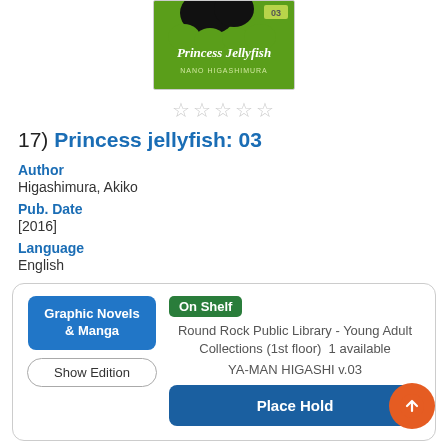[Figure (illustration): Book cover for Princess Jellyfish volume 03, green background with black jellyfish silhouette and stylized text. Author name at bottom.]
★★★★★ (empty stars rating)
17) Princess jellyfish: 03
Author
Higashimura, Akiko
Pub. Date
[2016]
Language
English
Graphic Novels & Manga | Show Edition | On Shelf | Round Rock Public Library - Young Adult Collections (1st floor) 1 available | YA-MAN HIGASHI v.03 | Place Hold
Description
Read Description